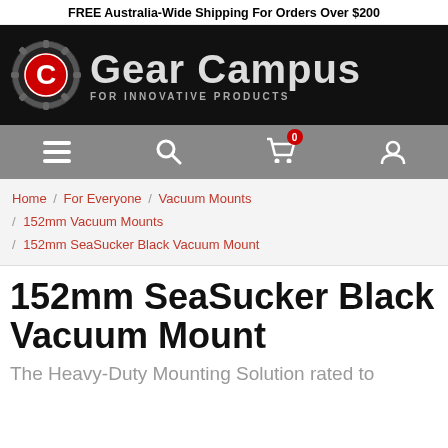FREE Australia-Wide Shipping For Orders Over $200
[Figure (logo): Gear Campus logo on black background with gear icon and text 'Gear Campus FOR INNOVATIVE PRODUCTS']
[Figure (screenshot): Navigation bar with hamburger menu, search, cart (0 items), and user account icons on grey background]
Home / For Everyone / Vacuum Mounts / 152mm Vacuum Mounts / 152mm SeaSucker Black Vacuum Mount
152mm SeaSucker Black Vacuum Mount
The Heavy-Duty Mounting Solution rated to